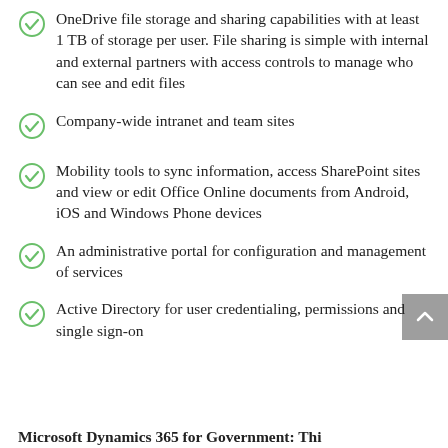OneDrive file storage and sharing capabilities with at least 1 TB of storage per user. File sharing is simple with internal and external partners with access controls to manage who can see and edit files
Company-wide intranet and team sites
Mobility tools to sync information, access SharePoint sites and view or edit Office Online documents from Android, iOS and Windows Phone devices
An administrative portal for configuration and management of services
Active Directory for user credentialing, permissions and single sign-on
Microsoft Dynamics 365 for Government: Thi…